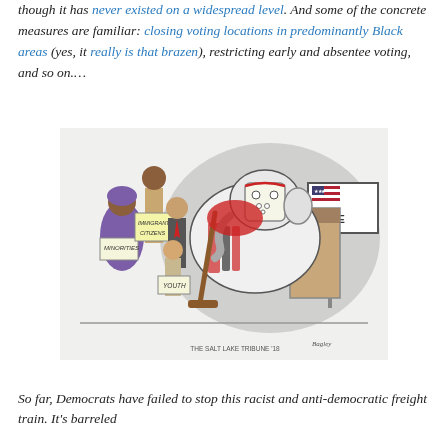though it has never existed on a widespread level. And some of the concrete measures are familiar: closing voting locations in predominantly Black areas (yes, it really is that brazen), restricting early and absentee voting, and so on.…
[Figure (illustration): Political cartoon showing a group of voters labeled 'Immigrant Citizens', 'Minorities', and 'Youth' approaching a voting booth, being blocked by a large elephant wearing a hockey mask and holding a hockey stick, dressed in a black and red outfit. A 'VOTE' sign is visible in the background with an American flag. Caption reads 'THE SALT LAKE TRIBUNE '18'.]
So far, Democrats have failed to stop this racist and anti-democratic freight train. It's barreled